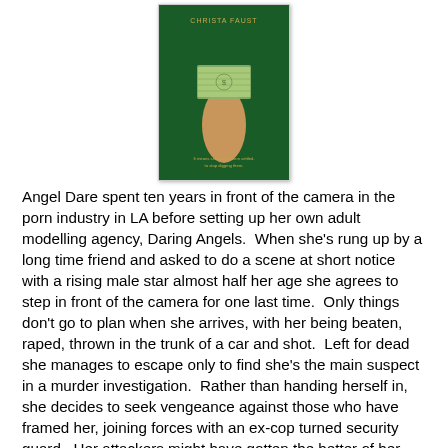[Figure (illustration): Book cover of 'Money Shot' by Christa Faust. Dark green background with a woman's hand holding a stack of money bills. Author name at top and tagline at bottom.]
Angel Dare spent ten years in front of the camera in the porn industry in LA before setting up her own adult modelling agency, Daring Angels.  When she's rung up by a long time friend and asked to do a scene at short notice with a rising male star almost half her age she agrees to step in front of the camera for one last time.  Only things don't go to plan when she arrives, with her being beaten, raped, thrown in the trunk of a car and shot.  Left for dead she manages to escape only to find she's the main suspect in a murder investigation.  Rather than handing herself in, she decides to seek vengeance against those who have framed her, joining forces with an ex-cop turned security guard.  Her attackers might have gotten the better of her when she was unawares, but as a woman wronged she's a different proposition, prepared to enact her own brand of justice.
In Money Shot Christa Faust pulls few punches; the story is